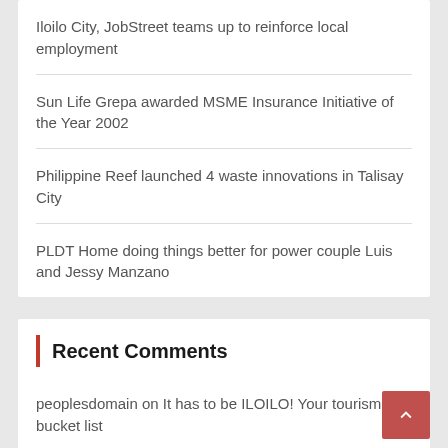Iloilo City, JobStreet teams up to reinforce local employment
Sun Life Grepa awarded MSME Insurance Initiative of the Year 2002
Philippine Reef launched 4 waste innovations in Talisay City
PLDT Home doing things better for power couple Luis and Jessy Manzano
Recent Comments
peoplesdomain on It has to be ILOILO! Your tourism bucket list
Todd on It has to be ILOILO! Your tourism bucket list